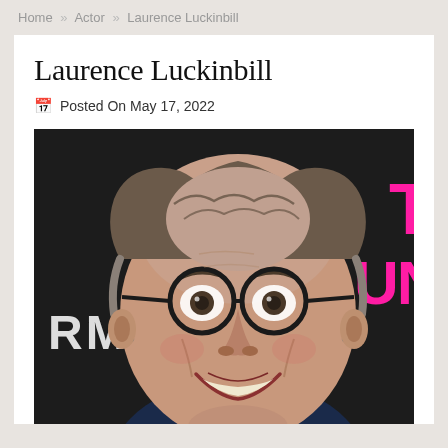Home » Actor » Laurence Luckinbill
Laurence Luckinbill
Posted On May 17, 2022
[Figure (photo): Close-up photo of Laurence Luckinbill, an elderly man wearing black round-framed glasses, smiling broadly. He has thinning grey-brown hair. The background is dark with white letters 'RM' on the left and bright pink letters on the right.]